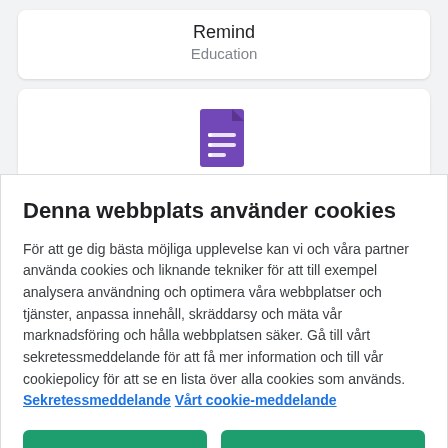Remind
Education
[Figure (logo): Google Forms purple document icon with list lines]
Denna webbplats använder cookies
För att ge dig bästa möjliga upplevelse kan vi och våra partner använda cookies och liknande tekniker för att till exempel analysera användning och optimera våra webbplatser och tjänster, anpassa innehåll, skräddarsy och mäta vår marknadsföring och hålla webbplatsen säker. Gå till vårt sekretessmeddelande för att få mer information och till vår cookiepolicy för att se en lista över alla cookies som används.  Sekretessmeddelande Vårt cookie-meddelande
Cookie-inställningar
Acceptera alla cookies